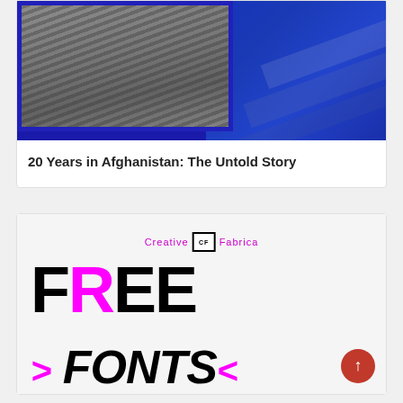[Figure (photo): Aerial photo of a city/infrastructure overlaid on a blue graphic background with diagonal stripes]
20 Years in Afghanistan: The Untold Story
[Figure (advertisement): Creative Fabrica advertisement showing FREE FONTS text in black and magenta large bold letters on a light background]